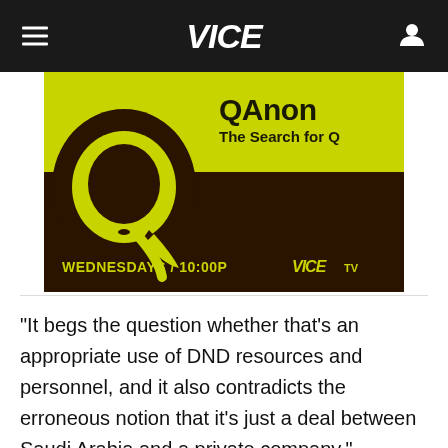VICE
[Figure (photo): QAnon: The Search for Q promotional image. Yellow and dark brown background with large Q graphic. Text reads 'QAnon The Search for Q' and 'WEDNESDAYS / 10:00P VICE TV']
"It begs the question whether that's an appropriate use of DND resources and personnel, and it also contradicts the erroneous notion that it's just a deal between Saudi Arabia and a private company," Jaramillo said.